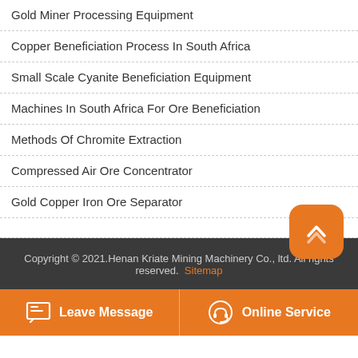Gold Miner Processing Equipment
Copper Beneficiation Process In South Africa
Small Scale Cyanite Beneficiation Equipment
Machines In South Africa For Ore Beneficiation
Methods Of Chromite Extraction
Compressed Air Ore Concentrator
Gold Copper Iron Ore Separator
Copyright © 2021.Henan Kriate Mining Machinery Co., ltd. All rights reserved. Sitemap
Leave Message   Online Service